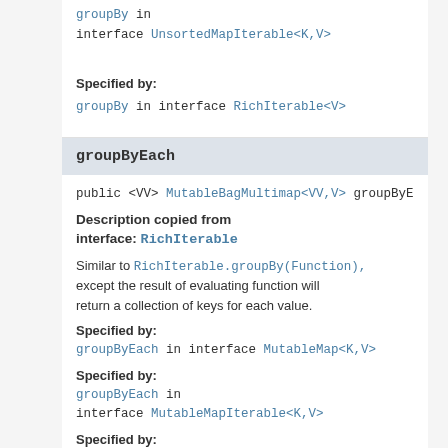groupBy in interface UnsortedMapIterable<K,V>
Specified by:
groupBy in interface RichIterable<V>
groupByEach
public <VV> MutableBagMultimap<VV,V> groupByEach(
Description copied from interface: RichIterable
Similar to RichIterable.groupBy(Function), except the result of evaluating function will return a collection of keys for each value.
Specified by:
groupByEach in interface MutableMap<K,V>
Specified by:
groupByEach in interface MutableMapIterable<K,V>
Specified by: